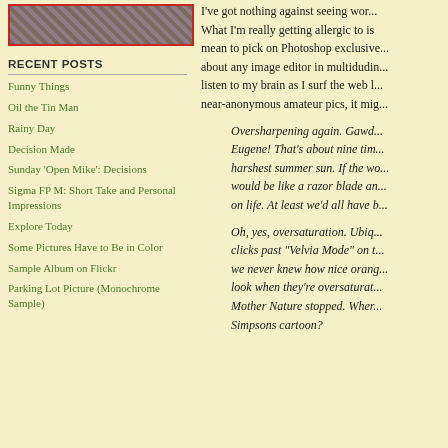[Figure (photo): Partial photo of a person/animal with blue background, bordered in red]
RECENT POSTS
Funny Things
Oil the Tin Man
Rainy Day
Decision Made
Sunday 'Open Mike': Decisions
Sigma FP M: Short Take and Personal Impressions
Explore Today
Some Pictures Have to Be in Color
Sample Album on Flickr
Parking Lot Picture (Monochrome Sample)
I've got nothing against seeing wor... What I'm really getting allergic to is mean to pick on Photoshop exclusive... about any image editor in multidudin... listen to my brain as I surf the web l... near-anonymous amateur pics, it mig...
Oversharpening again. Gawd... Eugene! That's about nine tim... harshest summer sun. If the wo... would be like a razor blade an... on life. At least we'd all have b...
Oh, yes, oversaturation. Ubiq... clicks past "Velvia Mode" on t... we never knew how nice orang... look when they're oversaturat... Mother Nature stopped. When... Simpsons cartoon?